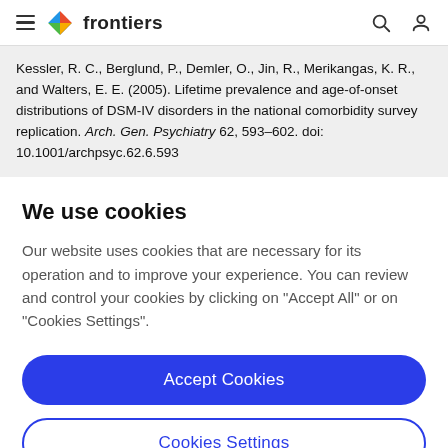frontiers
Kessler, R. C., Berglund, P., Demler, O., Jin, R., Merikangas, K. R., and Walters, E. E. (2005). Lifetime prevalence and age-of-onset distributions of DSM-IV disorders in the national comorbidity survey replication. Arch. Gen. Psychiatry 62, 593–602. doi: 10.1001/archpsyc.62.6.593
We use cookies
Our website uses cookies that are necessary for its operation and to improve your experience. You can review and control your cookies by clicking on "Accept All" or on "Cookies Settings".
Accept Cookies
Cookies Settings